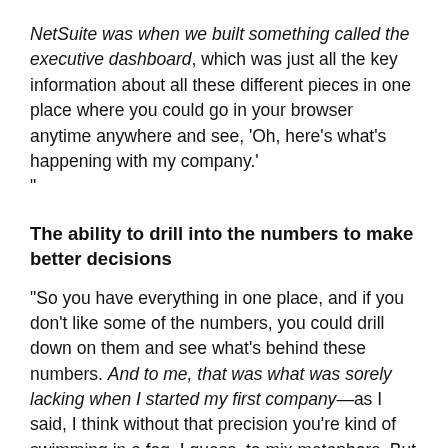NetSuite was when we built something called the executive dashboard, which was just all the key information about all these different pieces in one place where you could go in your browser anytime anywhere and see, 'Oh, here's what's happening with my company.' "
The ability to drill into the numbers to make better decisions
“So you have everything in one place, and if you don’t like some of the numbers, you could drill down on them and see what’s behind these numbers. And to me, that was what was sorely lacking when I started my first company—as I said, I think without that precision you’re kind of swimming in a fog, I guess, to mix metaphors. But you can’t figure out what your next move should be